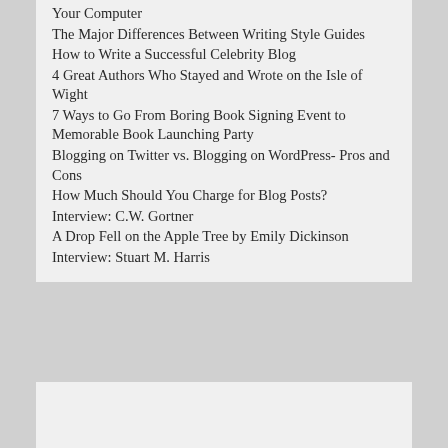Your Computer
The Major Differences Between Writing Style Guides
How to Write a Successful Celebrity Blog
4 Great Authors Who Stayed and Wrote on the Isle of Wight
7 Ways to Go From Boring Book Signing Event to Memorable Book Launching Party
Blogging on Twitter vs. Blogging on WordPress- Pros and Cons
How Much Should You Charge for Blog Posts?
Interview: C.W. Gortner
A Drop Fell on the Apple Tree by Emily Dickinson
Interview: Stuart M. Harris